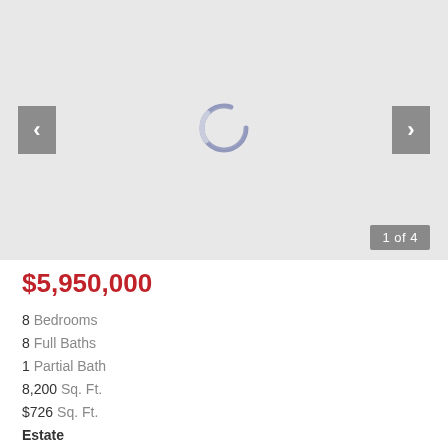[Figure (photo): Real estate listing photo carousel with navigation arrows (left and right), a loading spinner in the center, and a page indicator showing '1 of 4' in the bottom right corner. Background is light gray.]
$5,950,000
8 Bedrooms
8 Full Baths
1 Partial Bath
8,200 Sq. Ft.
$726 Sq. Ft.
Estate
MLS# 287024